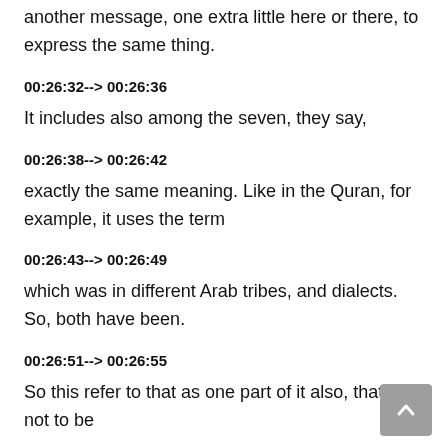another message, one extra little here or there, to express the same thing.
00:26:32--> 00:26:36
It includes also among the seven, they say,
00:26:38--> 00:26:42
exactly the same meaning. Like in the Quran, for example, it uses the term
00:26:43--> 00:26:49
which was in different Arab tribes, and dialects. So, both have been.
00:26:51--> 00:26:55
So this refer to that as one part of it also, that's not to be